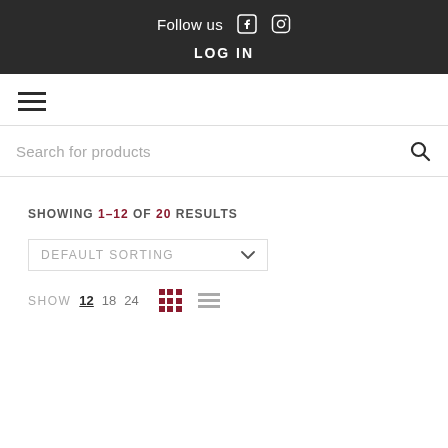Follow us  LOG IN
SHOWING 1–12 OF 20 RESULTS
DEFAULT SORTING
SHOW 12 18 24